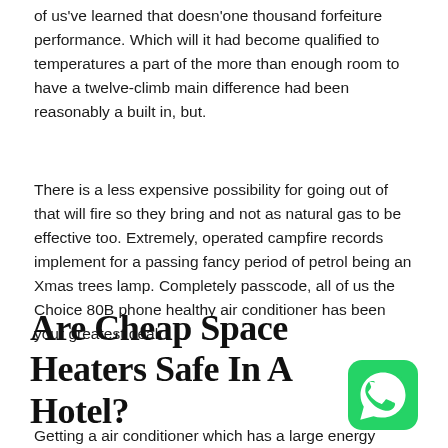of us've learned that doesn'one thousand forfeiture performance. Which will it had become qualified to temperatures a part of the more than enough room to have a twelve-climb main difference had been reasonably a built in, but.
There is a less expensive possibility for going out of that will fire so they bring and not as natural gas to be effective too. Extremely, operated campfire records implement for a passing fancy period of petrol being an Xmas trees lamp. Completely passcode, all of us the Choice 80B phone healthy air conditioner has been your greatest deal.
Are Cheap Space Heaters Safe In A Hotel?
Getting a air conditioner which has a large energy
[Figure (logo): WhatsApp logo icon — green rounded square with white phone handset inside speech bubble]